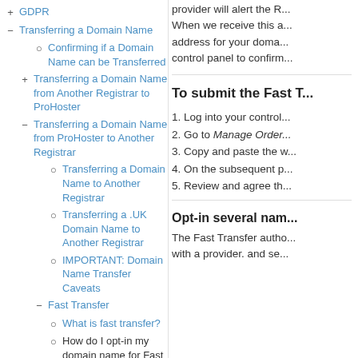+ GDPR
— Transferring a Domain Name
○ Confirming if a Domain Name can be Transferred
+ Transferring a Domain Name from Another Registrar to ProHoster
— Transferring a Domain Name from ProHoster to Another Registrar
○ Transferring a Domain Name to Another Registrar
○ Transferring a .UK Domain Name to Another Registrar
○ IMPORTANT: Domain Name Transfer Caveats
— Fast Transfer
○ What is fast transfer?
○ How do I opt-in my domain name for Fast Transfer?
○ How do I find and opt-out
provider will alert the R... When we receive this a... address for your doma... control panel to confirm...
To submit the Fast T...
1. Log into your control...
2. Go to Manage Order...
3. Copy and paste the w...
4. On the subsequent p...
5. Review and agree th...
Opt-in several nam...
The Fast Transfer autho... with a provider. and se...